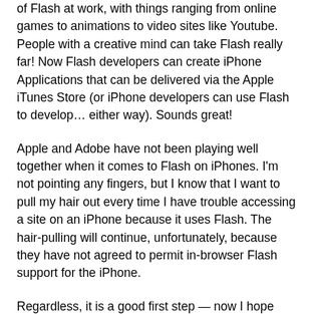of Flash at work, with things ranging from online games to animations to video sites like Youtube. People with a creative mind can take Flash really far! Now Flash developers can create iPhone Applications that can be delivered via the Apple iTunes Store (or iPhone developers can use Flash to develop… either way). Sounds great!
Apple and Adobe have not been playing well together when it comes to Flash on iPhones. I'm not pointing any fingers, but I know that I want to pull my hair out every time I have trouble accessing a site on an iPhone because it uses Flash. The hair-pulling will continue, unfortunately, because they have not agreed to permit in-browser Flash support for the iPhone.
Regardless, it is a good first step — now I hope they can take it all the way home!